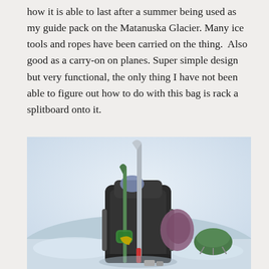how it is able to last after a summer being used as my guide pack on the Matanuska Glacier. Many ice tools and ropes have been carried on the thing.  Also good as a carry-on on planes. Super simple design but very functional, the only thing I have not been able to figure out how to do with this bag is rack a splitboard onto it.
[Figure (photo): A loaded black backpack sitting on snow, with ice tools, poles, and climbing gear attached to it, along with a snowboard binding visible on the side. The pack is surrounded by snow and appears to be at a glacier location.]